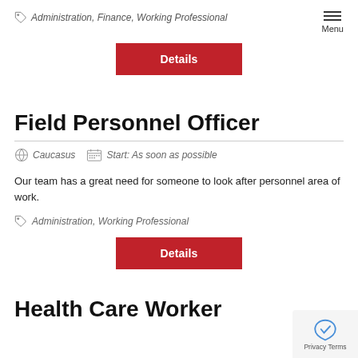Administration, Finance, Working Professional | Menu
[Figure (other): Red Details button]
Field Personnel Officer
Caucasus   Start: As soon as possible
Our team has a great need for someone to look after personnel area of work.
Administration, Working Professional
[Figure (other): Red Details button]
Health Care Worker